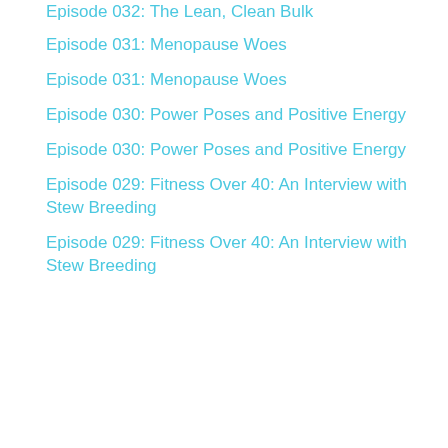Episode 032: The Lean, Clean Bulk
Episode 031: Menopause Woes
Episode 031: Menopause Woes
Episode 030: Power Poses and Positive Energy
Episode 030: Power Poses and Positive Energy
Episode 029: Fitness Over 40: An Interview with Stew Breeding
Episode 029: Fitness Over 40: An Interview with Stew Breeding